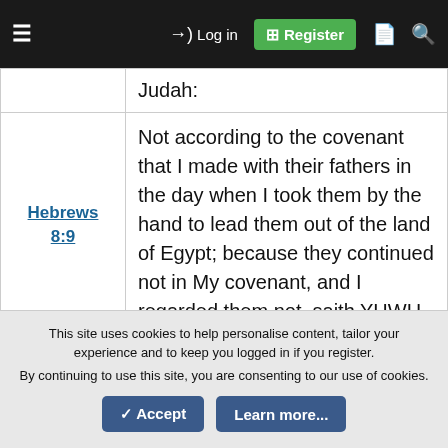≡  →) Log in  [+] Register  □  🔍
| Reference | Text |
| --- | --- |
|  | Judah: |
| Hebrews 8:9 | Not according to the covenant that I made with their fathers in the day when I took them by the hand to lead them out of the land of Egypt; because they continued not in My covenant, and I regarded them not, saith YHWH. |
|  | For this is the covenant that I will make with the house of Israel after those days |
This site uses cookies to help personalise content, tailor your experience and to keep you logged in if you register.
By continuing to use this site, you are consenting to our use of cookies.